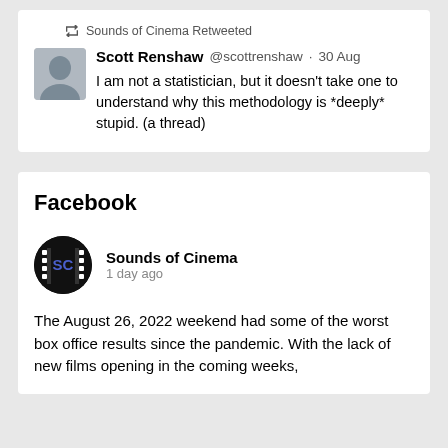Sounds of Cinema Retweeted
Scott Renshaw @scottrenshaw · 30 Aug
I am not a statistician, but it doesn't take one to understand why this methodology is *deeply* stupid. (a thread)
Facebook
Sounds of Cinema
1 day ago
The August 26, 2022 weekend had some of the worst box office results since the pandemic. With the lack of new films opening in the coming weeks,